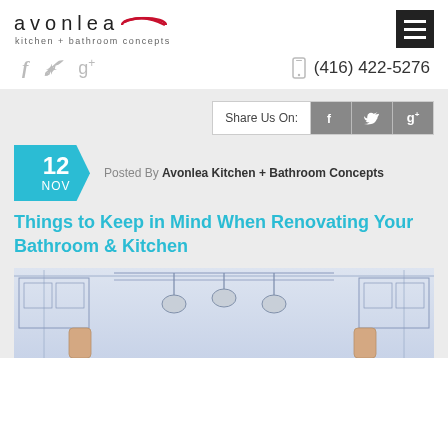avonlea kitchen + bathroom concepts
f  g+  (416) 422-5276
Share Us On:
12 NOV  Posted By Avonlea Kitchen + Bathroom Concepts
Things to Keep in Mind When Renovating Your Bathroom & Kitchen
[Figure (illustration): Blueprint/architectural line drawing illustration of a kitchen interior with pendant lights and hands pointing at the design]